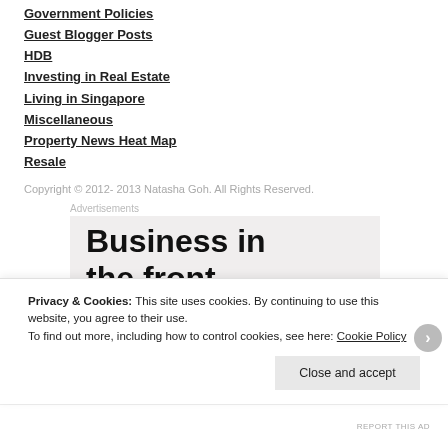Government Policies
Guest Blogger Posts
HDB
Investing in Real Estate
Living in Singapore
Miscellaneous
Property News Heat Map
Resale
Copyright © 2012- 2013 Natasha Goh. All Rights Reserved.
[Figure (other): Advertisement banner with text 'Business in the front...' on light grey background]
Privacy & Cookies: This site uses cookies. By continuing to use this website, you agree to their use.
To find out more, including how to control cookies, see here: Cookie Policy
Close and accept
REPORT THIS AD